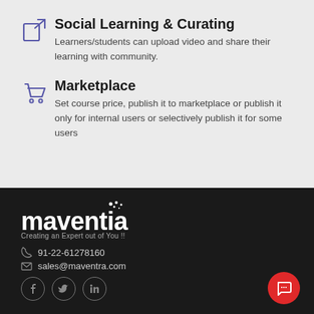Social Learning & Curating — Learners/students can upload video and share their learning with community.
Marketplace — Set course price, publish it to marketplace or publish it only for internal users or selectively publish it for some users
[Figure (logo): Maventra logo with text 'maventia' and tagline 'Creating an Expert out of You !!']
91-22-61278160
sales@maventra.com
[Figure (illustration): Social media icons: Facebook, Twitter, LinkedIn in circular outlines]